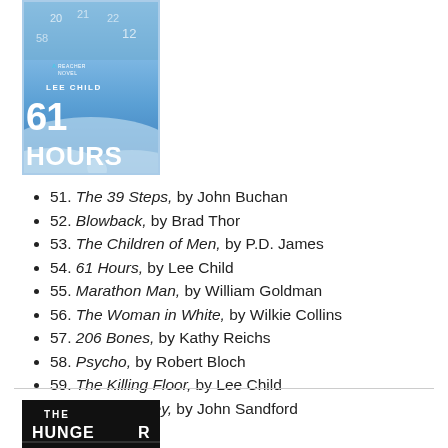[Figure (photo): Book cover of '61 Hours' - A Reacher Novel, blue icy cover with large white text '61 HOURS']
51. The 39 Steps, by John Buchan
52. Blowback, by Brad Thor
53. The Children of Men, by P.D. James
54. 61 Hours, by Lee Child
55. Marathon Man, by William Goldman
56. The Woman in White, by Wilkie Collins
57. 206 Bones, by Kathy Reichs
58. Psycho, by Robert Bloch
59. The Killing Floor, by Lee Child
60. Rules of Prey, by John Sandford
[Figure (photo): Bottom portion of book cover for 'The Hunger...' - dark cover with white text]